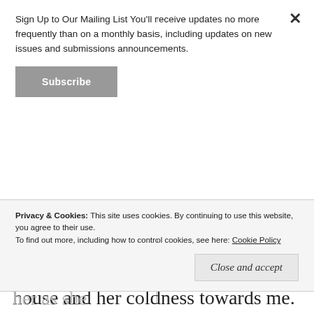Sign Up to Our Mailing List You'll receive updates no more frequently than on a monthly basis, including updates on new issues and submissions announcements.
Subscribe
holding her. I start complaining of the new city, the house and her coldness towards me. Then she starts to rock me and she relieves me with her placid voice. She explains that she has an important opportunity and that if she works hard in the next two months, she will have much more time for me.
Privacy & Cookies: This site uses cookies. By continuing to use this website, you agree to their use.
To find out more, including how to control cookies, see here: Cookie Policy
Close and accept
leaves, kissing my forehead. I watch her as she